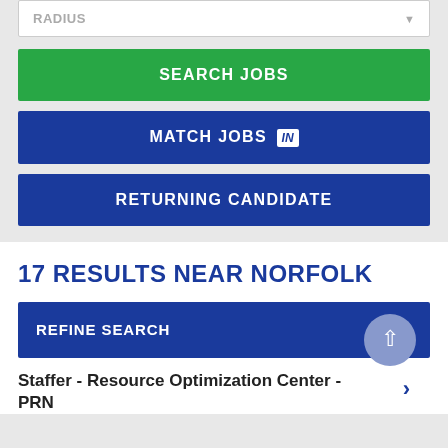RADIUS
SEARCH JOBS
MATCH JOBS in
RETURNING CANDIDATE
17 RESULTS NEAR NORFOLK
REFINE SEARCH +
Staffer - Resource Optimization Center - PRN